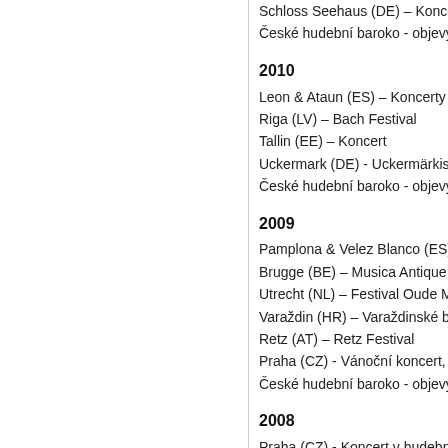Schloss Seehaus (DE) – Konc…
České hudební baroko - objevy a…
2010
Leon & Ataun (ES) – Koncerty
Riga (LV) – Bach Festival
Tallin (EE) – Koncert
Uckermark (DE) - Uckermärkisc…
České hudební baroko - objevy a…
2009
Pamplona & Velez Blanco (ES) -…
Brugge (BE) – Musica Antique B…
Utrecht (NL) – Festival Oude Mu…
Varaždin (HR) – Varaždinské bar…
Retz (AT) – Retz Festival
Praha (CZ) - Vánoční koncert, p…
České hudební baroko - objevy a…
2008
Praha (CZ) - Koncert v hudebni…
Vigo (ES) – Koncert
Boskovice (CZ) – Mezinárodní h…